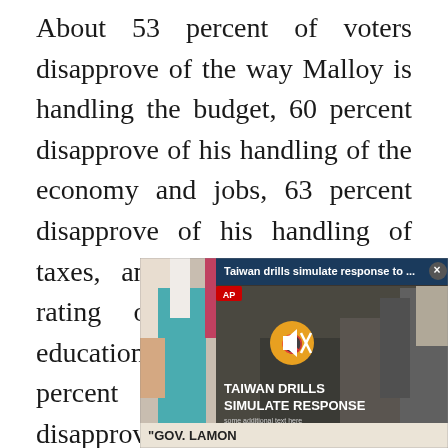About 53 percent of voters disapprove of the way Malloy is handling the budget, 60 percent disapprove of his handling of the economy and jobs, 63 percent disapprove of his handling of taxes, and he gets a divided rating on his handling of education policy — about 41 percent approve and 43 disapprove. The poll has a 3.2 percent margin of error.
[Figure (screenshot): Embedded video player showing a press conference scene on the left with women in colored clothing, and an AP video overlay on the right showing 'Taiwan drills simulate response to...' with military imagery and text 'TAIWAN DRILLS SIMULATE RESPONSE'. Below the image is a caption strip reading '"GOV. LAMON...'.]